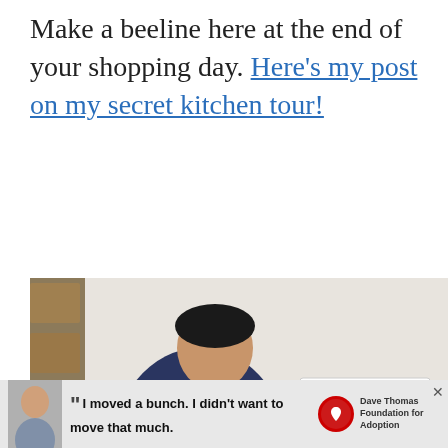Make a beeline here at the end of your shopping day. Here's my post on my secret kitchen tour!
[Figure (photo): A person in a navy blue t-shirt and gloves mixing a large tray of popcorn in a kitchen/production area. A 'TASTE EVERY BATCH' sign is on the wall. There is a heart icon with '22' and a share icon on the right side, plus a 'WHAT'S NEXT' thumbnail showing 'Chicago: 20 fun things to...']
I moved a bunch. I didn't want to move that much. Dave Thomas Foundation for Adoption